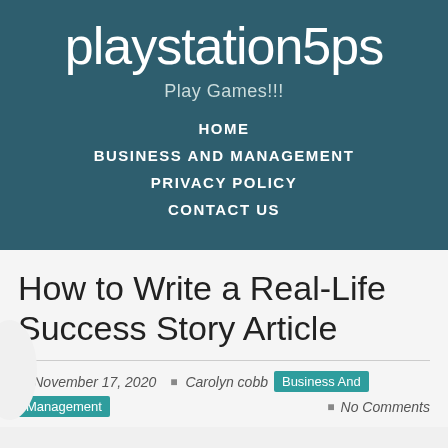playstation5ps
Play Games!!!
HOME
BUSINESS AND MANAGEMENT
PRIVACY POLICY
CONTACT US
How to Write a Real-Life Success Story Article
November 17, 2020  Carolyn cobb  Business And Management  No Comments